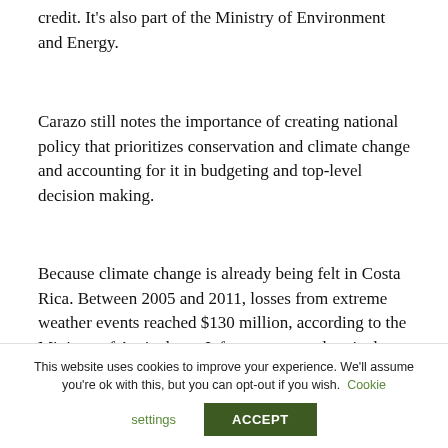credit. It's also part of the Ministry of Environment and Energy.
Carazo still notes the importance of creating national policy that prioritizes conservation and climate change and accounting for it in budgeting and top-level decision making.
Because climate change is already being felt in Costa Rica. Between 2005 and 2011, losses from extreme weather events reached $130 million, according to the Ministry of Agriculture. Infrastructure and agriculture were hardest hit.
The…
This website uses cookies to improve your experience. We'll assume you're ok with this, but you can opt-out if you wish. Cookie settings  ACCEPT